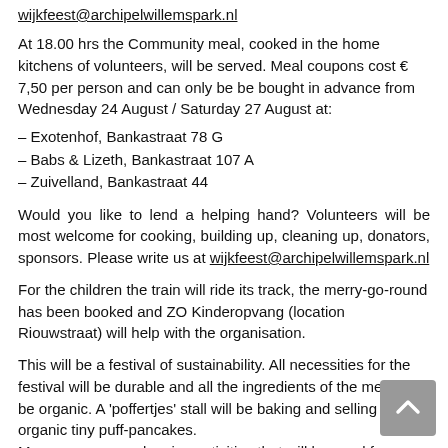wijkfeest@archipelwillemspark.nl
At 18.00 hrs the Community meal, cooked in the home kitchens of volunteers, will be served. Meal coupons cost € 7,50 per person and can only be be bought in advance from Wednesday 24 August / Saturday 27 August at:
– Exotenhof, Bankastraat 78 G
– Babs & Lizeth, Bankastraat 107 A
– Zuivelland, Bankastraat 44
Would you like to lend a helping hand? Volunteers will be most welcome for cooking, building up, cleaning up, donators, sponsors. Please write us at wijkfeest@archipelwillemspark.nl
For the children the train will ride its track, the merry-go-round has been booked and ZO Kinderopvang (location Riouwstraat) will help with the organisation.
This will be a festival of sustainability. All necessities for the festival will be durable and all the ingredients of the meal will be organic. A 'poffertjes' stall will be baking and selling organic tiny puff-pancakes.
Moreover we are planning activities that will be good for